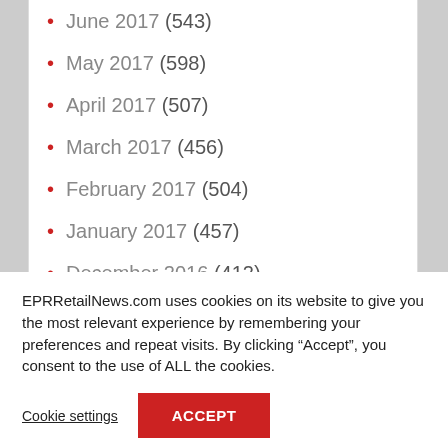June 2017 (543)
May 2017 (598)
April 2017 (507)
March 2017 (456)
February 2017 (504)
January 2017 (457)
December 2016 (412)
November 2016 (666)
EPRRetailNews.com uses cookies on its website to give you the most relevant experience by remembering your preferences and repeat visits. By clicking “Accept”, you consent to the use of ALL the cookies.
Cookie settings
ACCEPT